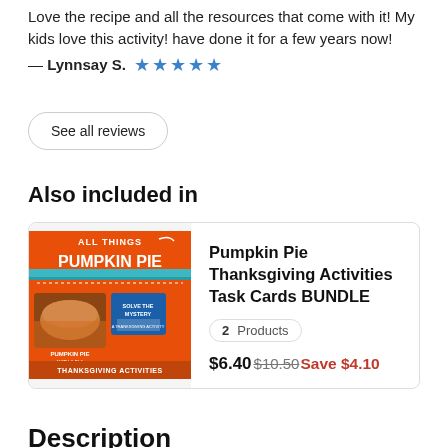Love the recipe and all the resources that come with it! My kids love this activity! have done it for a few years now!
— Lynnsay S. ★★★★★
See all reviews
Also included in
[Figure (illustration): Pumpkin Pie Thanksgiving Activities Task Cards BUNDLE product cover image showing orange and teal themed educational materials]
Pumpkin Pie Thanksgiving Activities Task Cards BUNDLE
2 Products
$6.40 $10.50 Save $4.10
Description